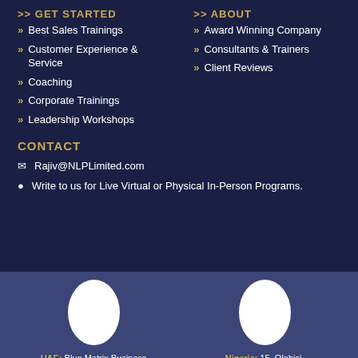GET STARTED
Best Sales Trainings
Customer Experience & Service
Coaching
Corporate Trainings
Leadership Workshops
ABOUT
Award Winning Company
Consultants & Trainers
Client Reviews
CONTACT
Rajiv@NLPLimited.com
Write to us for Live Virtual or Physical In-Person Programs.
UAE: Blue Matrix Business
Nigeria: 15, Olabisi,